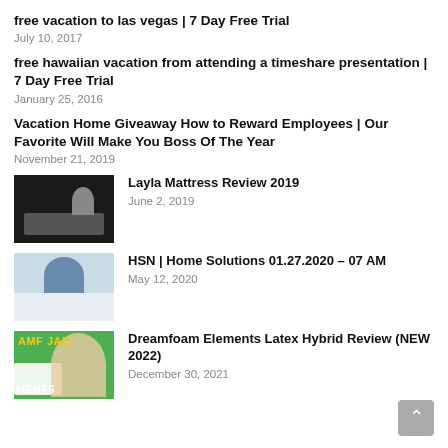free vacation to las vegas | 7 Day Free Trial
July 10, 2017
free hawaiian vacation from attending a timeshare presentation | 7 Day Free Trial
January 25, 2016
Vacation Home Giveaway How to Reward Employees | Our Favorite Will Make You Boss Of The Year
November 21, 2019
[Figure (photo): Thumbnail of Layla mattress review video showing a mattress and person]
Layla Mattress Review 2019
June 2, 2019
[Figure (photo): Thumbnail of HSN Home Solutions video showing a person in front of shelving]
HSN | Home Solutions 01.27.2020 – 07 AM
May 12, 2020
[Figure (photo): Thumbnail of Dreamfoam Elements Latex Hybrid Review video showing AMF JAM branding and a smiling person on green background]
Dreamfoam Elements Latex Hybrid Review (NEW 2022)
December 30, 2021